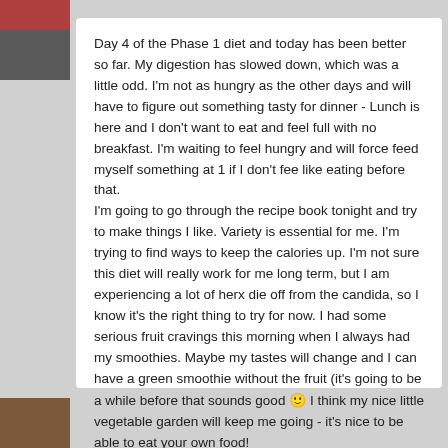Day 4 of the Phase 1 diet and today has been better so far. My digestion has slowed down, which was a little odd. I'm not as hungry as the other days and will have to figure out something tasty for dinner - Lunch is here and I don't want to eat and feel full with no breakfast. I'm waiting to feel hungry and will force feed myself something at 1 if I don't fee like eating before that.
I'm going to go through the recipe book tonight and try to make things I like. Variety is essential for me. I'm trying to find ways to keep the calories up. I'm not sure this diet will really work for me long term, but I am experiencing a lot of herx die off from the candida, so I know it's the right thing to try for now. I had some serious fruit cravings this morning when I always had my smoothies. Maybe my tastes will change and I can have a green smoothie without the fruit (it's going to be a while before that sounds good 🙂 I think my nice little vegetable garden will keep me going - it's nice to be able to eat your own food!